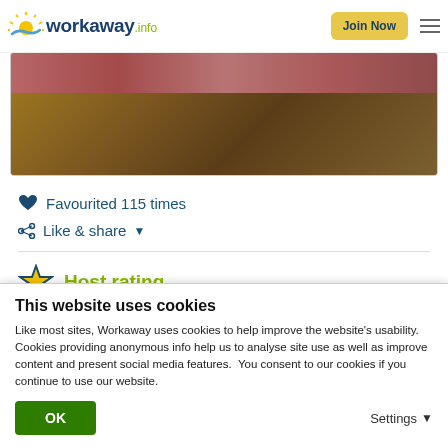workaway.info | Join Now
[Figure (photo): A partially visible photograph showing a dark reddish-brown floor or ground surface]
Favourited 115 times
Like & share
Host rating
This website uses cookies
Like most sites, Workaway uses cookies to help improve the website's usability. Cookies providing anonymous info help us to analyse site use as well as improve content and present social media features.  You consent to our cookies if you continue to use our website.
OK
Settings